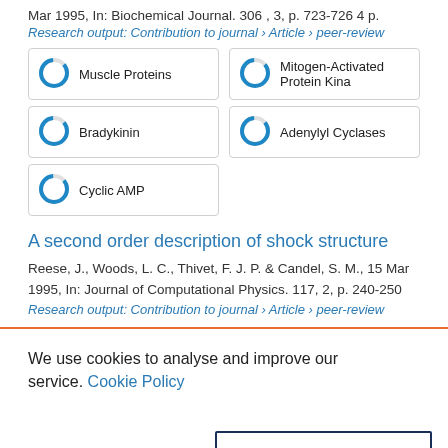Mar 1995, In: Biochemical Journal. 306 , 3, p. 723-726 4 p.
Research output: Contribution to journal › Article › peer-review
100% Muscle Proteins
100% Mitogen-Activated Protein Kina
100% Bradykinin
100% Adenylyl Cyclases
100% Cyclic AMP
A second order description of shock structure
Reese, J., Woods, L. C., Thivet, F. J. P. & Candel, S. M., 15 Mar 1995, In: Journal of Computational Physics. 117, 2, p. 240-250
Research output: Contribution to journal › Article › peer-review
We use cookies to analyse and improve our service. Cookie Policy
Cookies Settings
Accept All Cookies